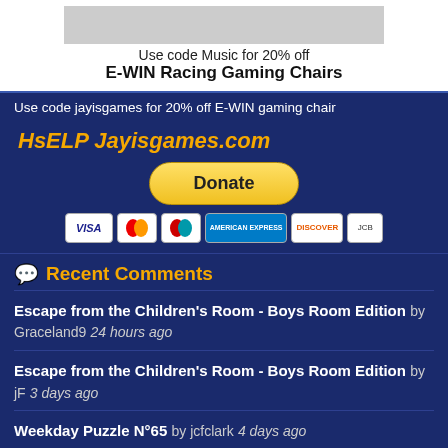[Figure (other): Advertisement banner for E-WIN Racing Gaming Chairs with promo code 'Music' for 20% off]
Use code jayisgames for 20% off E-WIN gaming chair
HsELP Jayisgames.com
[Figure (other): Donate button (PayPal-style yellow rounded button) with payment card icons below: VISA, Mastercard, Mastercard variant, American Express, Discover, International]
Recent Comments
Escape from the Children's Room - Boys Room Edition  by Graceland9  24 hours ago
Escape from the Children's Room - Boys Room Edition  by jF  3 days ago
Weekday Puzzle N°65  by jcfclark  4 days ago
Weekday Escape N°353  by kks1der29  5 d...